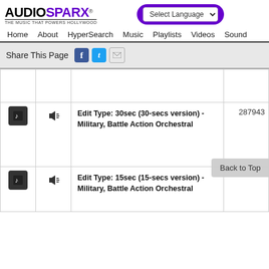[Figure (logo): AudioSparx logo with tagline 'THE MUSIC THAT POWERS HOLLYWOOD']
[Figure (screenshot): Select Language dropdown in purple bar]
Home  About  HyperSearch  Music  Playlists  Videos  Sound
Share This Page
|  |  | Track Info | ID |
| --- | --- | --- | --- |
|  |  |  |  |
| [play] | [vol] | Edit Type: 30sec (30-secs version) - Military, Battle Action Orchestral | 287943 |
| [play] | [vol] | Edit Type: 15sec (15-secs version) - Military, Battle Action Orchestral | 287942 |
Back to Top